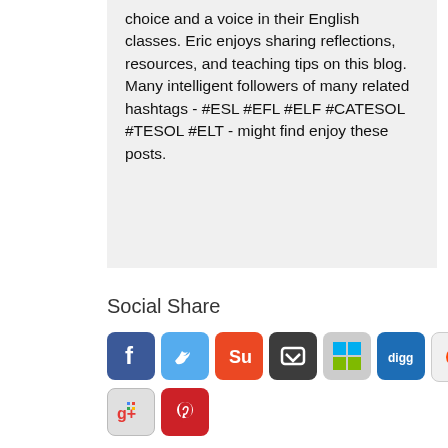choice and a voice in their English classes. Eric enjoys sharing reflections, resources, and teaching tips on this blog. Many intelligent followers of many related hashtags - #ESL #EFL #ELF #CATESOL #TESOL #ELT - might find enjoy these posts.
Social Share
[Figure (infographic): Social sharing buttons: Facebook, Twitter, StumbleUpon, Pocket, Shareaholic, Digg, Reddit, LinkedIn, Google+, Pinterest]